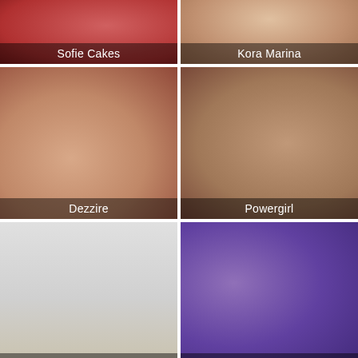[Figure (photo): Thumbnail of Sofie Cakes with name label overlay]
[Figure (photo): Thumbnail of Kora Marina with name label overlay]
[Figure (photo): Thumbnail of Dezzire with name label overlay]
[Figure (photo): Thumbnail of Powergirl with name label overlay]
[Figure (photo): Thumbnail of LiaPrada with name label overlay]
[Figure (photo): Thumbnail of Alice Shazaham with name label overlay]
Camsoda Live Cam Adventures